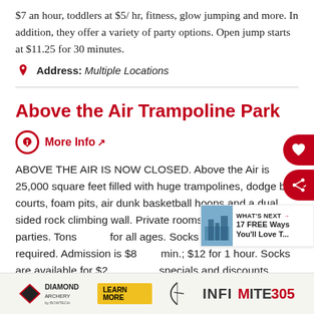$7 an hour, toddlers at $5/ hr, fitness, glow jumping and more. In addition, they offer a variety of party options. Open jump starts at $11.25 for 30 minutes.
Address: Multiple Locations
Above the Air Trampoline Park
More Info
ABOVE THE AIR IS NOW CLOSED. Above the Air is 25,000 square feet filled with huge trampolines, dodge ball courts, foam pits, air dunk basketball hoops and a dual sided rock climbing wall. Private rooms available for parties. Tons of fun for all ages. Socks and waiver required. Admission is $8 for 30 min.; $12 for 1 hour. Socks are available for $2. Many specials and discounts available on the website...
Address: 1395 Southlake Pkwy, Morrow, Georgia 30260
[Figure (advertisement): Diamond Archery advertisement banner with logo, bow silhouette, and INFINITE 305 text]